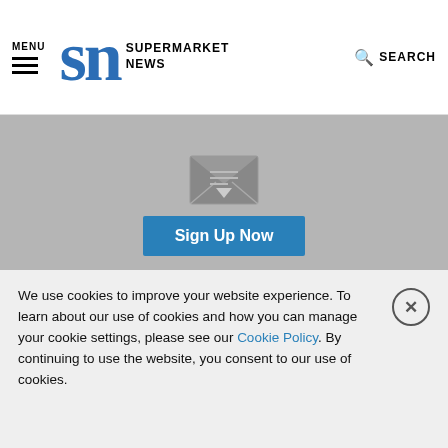MENU | SN SUPERMARKET NEWS | SEARCH
[Figure (other): Newsletter sign-up box with envelope icon and 'Sign Up Now' button on grey background]
“Together, Giant Eagle, GetGo and Grabango are offering new levels of convenience by solving everyone’s No. 1 frustration: waiting in checkout lines,” Grabango CEO Will Glaser commented. “Checkout-free convenience has arrived, and we’re so proud to be offering it with Giant Eagle.”
We use cookies to improve your website experience. To learn about our use of cookies and how you can manage your cookie settings, please see our Cookie Policy. By continuing to use the website, you consent to our use of cookies.